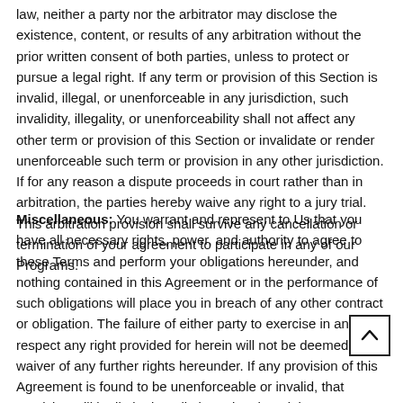law, neither a party nor the arbitrator may disclose the existence, content, or results of any arbitration without the prior written consent of both parties, unless to protect or pursue a legal right. If any term or provision of this Section is invalid, illegal, or unenforceable in any jurisdiction, such invalidity, illegality, or unenforceability shall not affect any other term or provision of this Section or invalidate or render unenforceable such term or provision in any other jurisdiction. If for any reason a dispute proceeds in court rather than in arbitration, the parties hereby waive any right to a jury trial. This arbitration provision shall survive any cancellation or termination of your agreement to participate in any of our Programs.
Miscellaneous: You warrant and represent to Us that you have all necessary rights, power, and authority to agree to these Terms and perform your obligations hereunder, and nothing contained in this Agreement or in the performance of such obligations will place you in breach of any other contract or obligation. The failure of either party to exercise in any respect any right provided for herein will not be deemed a waiver of any further rights hereunder. If any provision of this Agreement is found to be unenforceable or invalid, that provision will be limited or eliminated to the minimum extent necessary s this Agreement will otherwise remain in full force and effect and enforcea Any new features, changes, updates or improvements of the Program shall be subject to this Agreement unless explicitly stated otherwise in writing. We reserve the right to change this Agreement from time to time. Any updates to